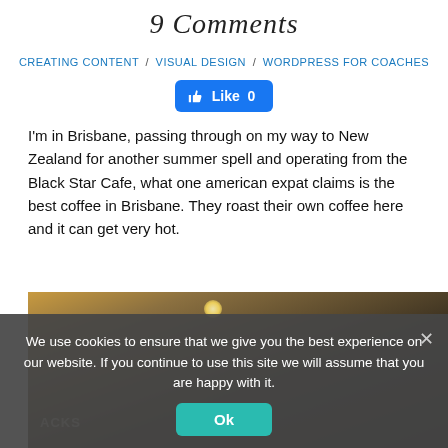9 Comments
CREATING CONTENT / VISUAL DESIGN / WORDPRESS FOR COACHES
[Figure (other): Facebook Like button showing 'Like 0' with thumbs up icon on blue background]
I'm in Brisbane, passing through on my way to New Zealand for another summer spell and operating from the Black Star Cafe, what one american expat claims is the best coffee in Brisbane. They roast their own coffee here and it can get very hot.
[Figure (photo): Interior photo of Black Star Cafe in Brisbane, dark warm tones with overhead lighting and people visible in background]
We use cookies to ensure that we give you the best experience on our website. If you continue to use this site we will assume that you are happy with it.